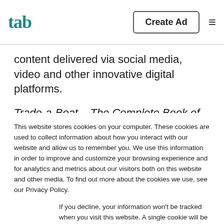tab | Create Ad
content delivered via social media, video and other innovative digital platforms.
Trade-a-Boat – The Complete Book of Boats will be unmistakable on Australian newsstands from 13 February 2014, and the launch will be supported by an
This website stores cookies on your computer. These cookies are used to collect information about how you interact with our website and allow us to remember you. We use this information in order to improve and customize your browsing experience and for analytics and metrics about our visitors both on this website and other media. To find out more about the cookies we use, see our Privacy Policy.
If you decline, your information won't be tracked when you visit this website. A single cookie will be used in your browser to remember your preference not to be tracked.
Accept
Decline